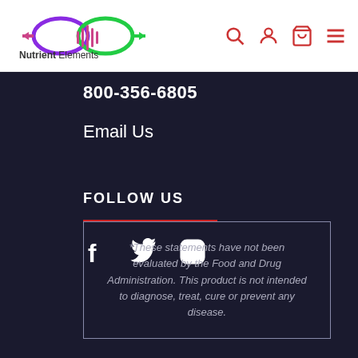Nutrient Elements — navigation header with logo, search, account, cart, menu icons
800-356-6805
Email Us
FOLLOW US
[Figure (infographic): Social media icons: Facebook (f), Twitter (bird), Instagram (camera)]
*These statements have not been evaluated by the Food and Drug Administration. This product is not intended to diagnose, treat, cure or prevent any disease.